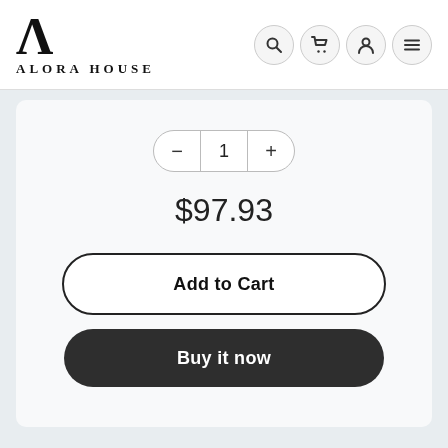[Figure (logo): Alora House logo with large stylized A and text ALORA HOUSE below]
[Figure (screenshot): Navigation icons: search, cart, user account, and menu (hamburger)]
1
$97.93
Add to Cart
Buy it now